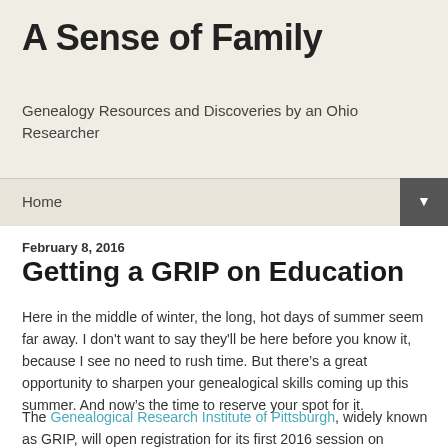A Sense of Family
Genealogy Resources and Discoveries by an Ohio Researcher
Home ▼
February 8, 2016
Getting a GRIP on Education
Here in the middle of winter, the long, hot days of summer seem far away. I don't want to say they'll be here before you know it, because I see no need to rush time. But there's a great opportunity to sharpen your genealogical skills coming up this summer. And now's the time to reserve your spot for it.
The Genealogical Research Institute of Pittsburgh, widely known as GRIP, will open registration for its first 2016 session on Wednesday, February 10 at 12:00 noon EST. There are six courses